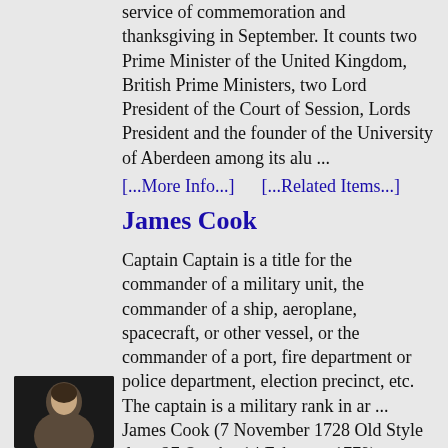service of commemoration and thanksgiving in September. It counts two Prime Minister of the United Kingdom, British Prime Ministers, two Lord President of the Court of Session, Lords President and the founder of the University of Aberdeen among its alu ... [...More Info...]      [...Related Items...]
James Cook
Captain Captain is a title for the commander of a military unit, the commander of a ship, aeroplane, spacecraft, or other vessel, or the commander of a port, fire department or police department, election precinct, etc. The captain is a military rank in ar ... James Cook (7 November 1728 Old Style date: 27 October14 February 1779) was a British explorer, navigator A navigator is the person on board a ship or aircraft responsible for its navigation Navigation is a field of study that
[Figure (photo): Small dark thumbnail portrait image of a person, positioned at bottom left]